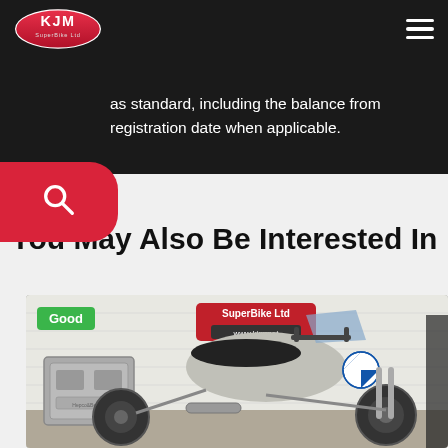KJM SuperBike Ltd navigation bar with logo and hamburger menu
as standard, including the balance from registration date when applicable.
[Figure (other): Red rounded search button with magnifying glass icon]
You May Also Be Interested In
[Figure (photo): BMW R1200GS motorcycle with silver panniers parked in KJM SuperBike Ltd showroom, 'Good' condition badge visible, KJM SuperBike Ltd and www.kjm.net signs on wall]